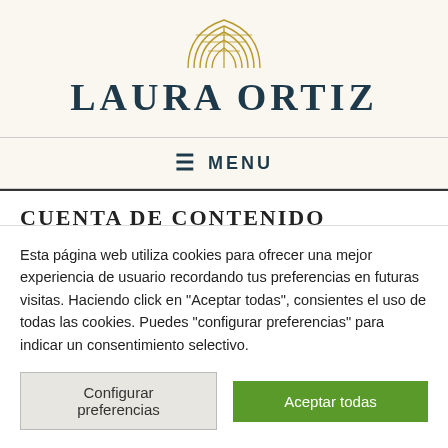[Figure (logo): Laura Ortiz logo with golden arc/rainbow lines above the text and bold serif LAURAORTIZ text in dark teal]
≡  MENU
CUENTA DE CONTENIDO
Esta página web utiliza cookies para ofrecer una mejor experiencia de usuario recordando tus preferencias en futuras visitas. Haciendo click en "Aceptar todas", consientes el uso de todas las cookies. Puedes "configurar preferencias" para indicar un consentimiento selectivo.
Configurar preferencias
Aceptar todas